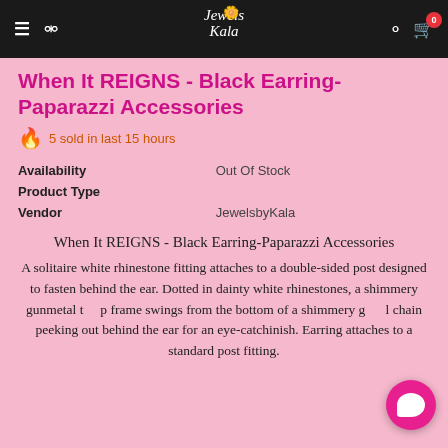Jewels Kala navigation bar with hamburger menu, search, logo, user icon, and cart (0)
When It REIGNS - Black Earring-Paparazzi Accessories
🔥 5 sold in last 15 hours
| Field | Value |
| --- | --- |
| Availability | Out Of Stock |
| Product Type |  |
| Vendor | JewelsbyKala |
When It REIGNS - Black Earring-Paparazzi Accessories
A solitaire white rhinestone fitting attaches to a double-sided post designed to fasten behind the ear. Dotted in dainty white rhinestones, a shimmery gunmetal top frame swings from the bottom of a shimmery gunmetal chain peeking out behind the ear for an eye-catching finish. Earring attaches to a standard post fitting.